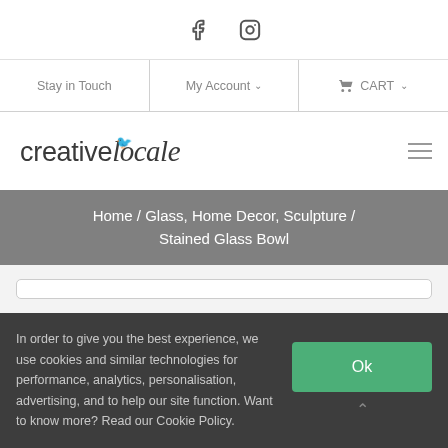Social icons: Facebook, Instagram
Stay in Touch | My Account ∨ | CART ∨
[Figure (logo): Creative Locale logo with stylized text and small bird icon]
Home / Glass, Home Decor, Sculpture / Stained Glass Bowl
In order to give you the best experience, we use cookies and similar technologies for performance, analytics, personalisation, advertising, and to help our site function. Want to know more? Read our Cookie Policy.